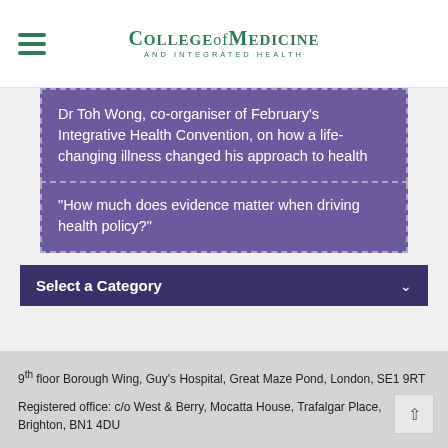College of Medicine and Integrated Health
Dr Toh Wong, co-organiser of February's Integrative Health Convention, on how a life-changing illness changed his approach to health
“How much does evidence matter when driving health policy?”
Select a Category
9th floor Borough Wing, Guy’s Hospital, Great Maze Pond, London, SE1 9RT

Registered office: c/o West & Berry, Mocatta House, Trafalgar Place, Brighton, BN1 4DU